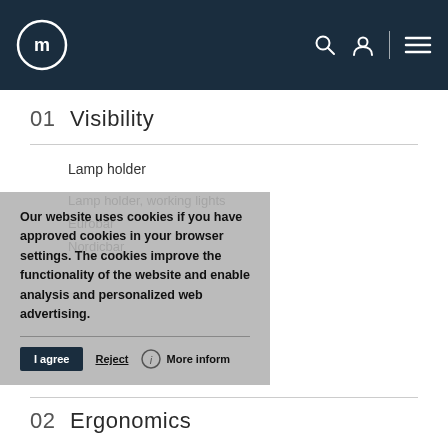Navigation bar with logo, search, user, and menu icons
01  Visibility
Lamp holder
Lamp holder, working lights
Eurobar
Nordicbar
Our website uses cookies if you have approved cookies in your browser settings. The cookies improve the functionality of the website and enable analysis and personalized web advertising.
02  Ergonomics